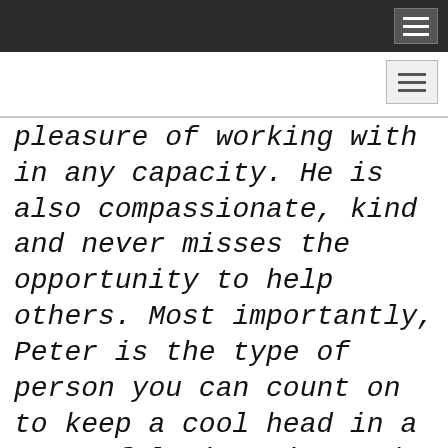pleasure of working with in any capacity. He is also compassionate, kind and never misses the opportunity to help others. Most importantly, Peter is the type of person you can count on to keep a cool head in a stressful situation and his positive attitude is contagious. Furthermore...